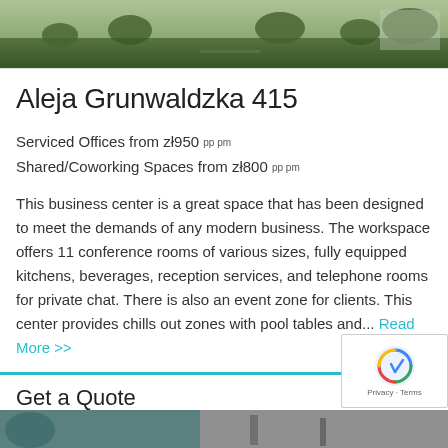[Figure (photo): Outdoor photo showing greenery, trees and possibly bicycles or park area]
Aleja Grunwaldzka 415
Serviced Offices from zł950 pp pm
Shared/Coworking Spaces from zł800 pp pm
This business center is a great space that has been designed to meet the demands of any modern business. The workspace offers 11 conference rooms of various sizes, fully equipped kitchens, beverages, reception services, and telephone rooms for private chat. There is also an event zone for clients. This center provides chills out zones with pool tables and... Read More >>
Get a Quote
[Figure (photo): Bottom partial photo strip]